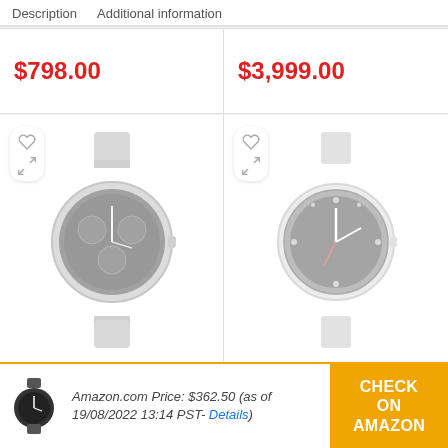Description   Additional information
$798.00
$3,999.00
[Figure (photo): Rado men's chronograph watch with silver bracelet, round dark dial]
[Figure (photo): Tudor Heritage Black Bay watch with dark dial and leather strap]
Rado Men's Watch R30130152
Tudor Heritage Black Bay Leather
Amazon.com Price: $362.50 (as of 19/08/2022 13:14 PST- Details)
CHECK ON AMAZON